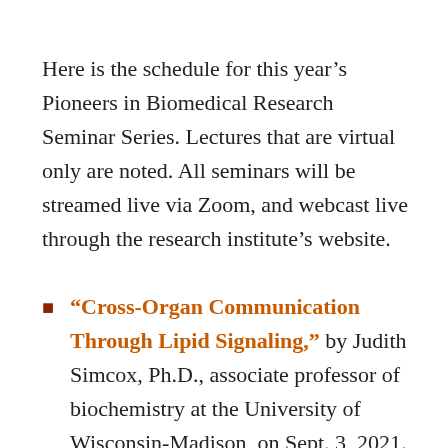Here is the schedule for this year's Pioneers in Biomedical Research Seminar Series. Lectures that are virtual only are noted. All seminars will be streamed live via Zoom, and webcast live through the research institute's website.
"Cross-Organ Communication Through Lipid Signaling," by Judith Simcox, Ph.D., associate professor of biochemistry at the University of Wisconsin-Madison, on Sept. 3, 2021.